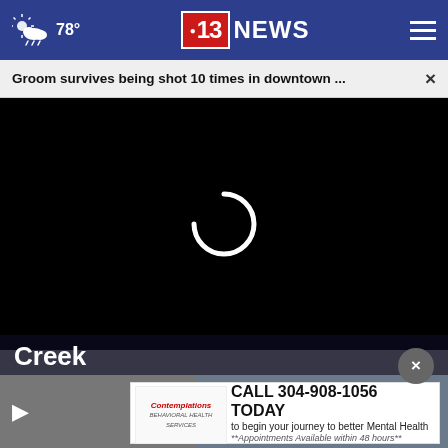78° | CBS 13 NEWS | [menu]
Groom survives being shot 10 times in downtown ...
[Figure (screenshot): Black video player area with white loading spinner in the center]
Creek
[Figure (photo): Two thumbnail images side by side below the title, partially visible]
CALL 304-908-1056 TODAY to begin your journey to better Mental Health **Appointments Available within 48 hours**